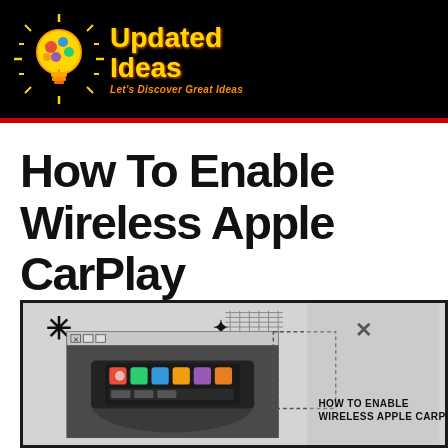Updated Ideas – Let's Discover Great Ideas
How To Enable Wireless Apple CarPlay
[Figure (infographic): Infographic showing a car dashboard display with Apple CarPlay interface and decorative design elements. Text overlay reads 'HOW TO ENABLE WIRELESS APPLE CARPLAY']